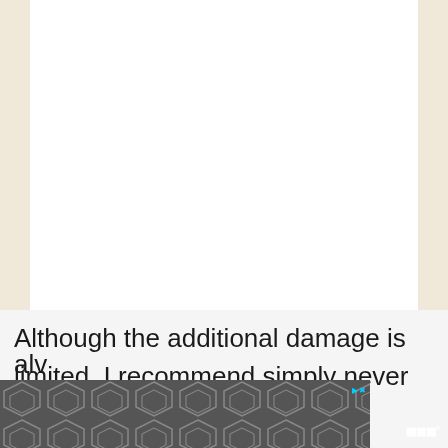[Figure (other): Large white blank content area with beige/tan background on left and right margins]
Although the additional damage is limited, I recommend simply never dropping or sheathing your weapons until the end of the adventuring day, though that might not alw
[Figure (other): Advertisement banner with diamond/hexagon pattern in gray, with play and close controls, and app icon on right]